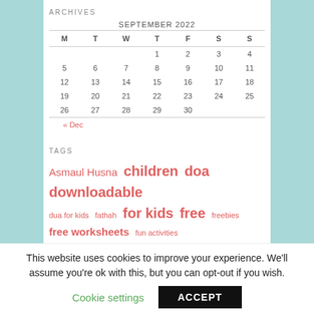ARCHIVES
| M | T | W | T | F | S | S |
| --- | --- | --- | --- | --- | --- | --- |
|  |  |  | 1 | 2 | 3 | 4 |
| 5 | 6 | 7 | 8 | 9 | 10 | 11 |
| 12 | 13 | 14 | 15 | 16 | 17 | 18 |
| 19 | 20 | 21 | 22 | 23 | 24 | 25 |
| 26 | 27 | 28 | 29 | 30 |  |  |
« Dec
TAGS
Asmaul Husna  children  doa  downloadable  dua for kids  fathah  for kids  free  freebies  free worksheets  fun activities  handwriting
This website uses cookies to improve your experience. We'll assume you're ok with this, but you can opt-out if you wish.
Cookie settings   ACCEPT